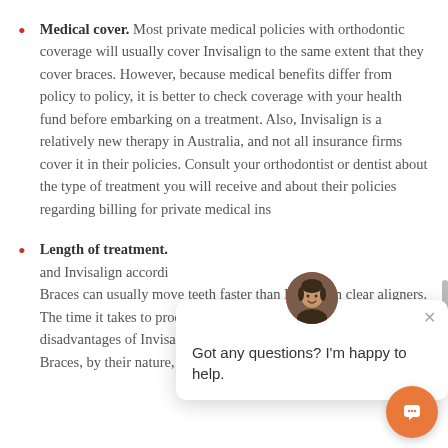Medical cover. Most private medical policies with orthodontic coverage will usually cover Invisalign to the same extent that they cover braces. However, because medical benefits differ from policy to policy, it is better to check coverage with your health fund before embarking on a treatment. Also, Invisalign is a relatively new therapy in Australia, and not all insurance firms cover it in their policies. Consult your orthodontist or dentist about the type of treatment you will receive and about their policies regarding billing for private medical ins...
Length of treatment. ...and Invisalign accordi... Braces can usually move teeth faster than Invisalign clear aligners. The time it takes to produce results considered one of the key disadvantages of Invisa... Braces, by their nature, can put more force on the...
[Figure (other): Chat widget overlay showing a female avatar, close button (×), and text 'Got any questions? I'm happy to help.' with an orange chat button in the bottom right corner.]